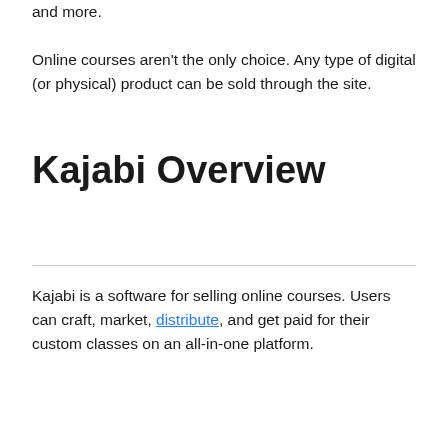and more.
Online courses aren't the only choice. Any type of digital (or physical) product can be sold through the site.
Kajabi Overview
Kajabi is a software for selling online courses. Users can craft, market, distribute, and get paid for their custom classes on an all-in-one platform.